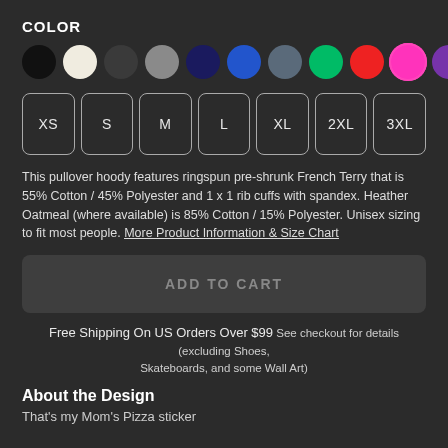COLOR
[Figure (other): Color selector with 11 circular color swatches: black, cream/white, dark gray, medium gray, navy, blue, slate blue, green, red, pink/magenta (selected with ring), purple]
[Figure (other): Size selector buttons: XS, S, M, L, XL, 2XL, 3XL]
This pullover hoody features ringspun pre-shrunk French Terry that is 55% Cotton / 45% Polyester and 1 x 1 rib cuffs with spandex. Heather Oatmeal (where available) is 85% Cotton / 15% Polyester. Unisex sizing to fit most people. More Product Information & Size Chart
ADD TO CART
Free Shipping On US Orders Over $99 See checkout for details (excluding Shoes, Skateboards, and some Wall Art)
About the Design
That's my Mom's Pizza sticker